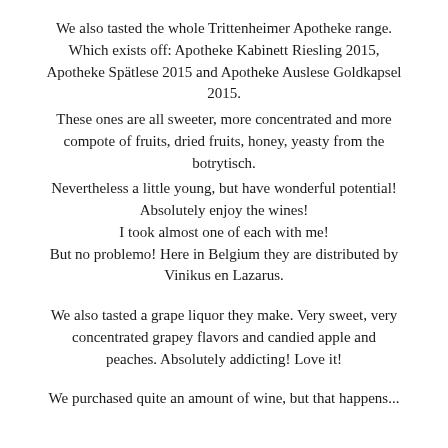We also tasted the whole Trittenheimer Apotheke range. Which exists off: Apotheke Kabinett Riesling 2015, Apotheke Spätlese 2015 and Apotheke Auslese Goldkapsel 2015.
These ones are all sweeter, more concentrated and more compote of fruits, dried fruits, honey, yeasty from the botrytisch.
Nevertheless a little young, but have wonderful potential! Absolutely enjoy the wines! I took almost one of each with me! But no problemo! Here in Belgium they are distributed by Vinikus en Lazarus.
We also tasted a grape liquor they make. Very sweet, very concentrated grapey flavors and candied apple and peaches. Absolutely addicting! Love it!
We purchased quite an amount of wine, but that happens...